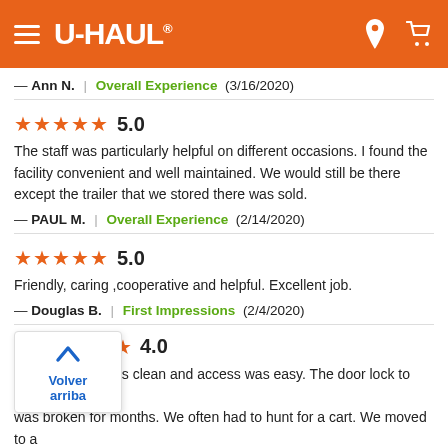U-HAUL
— Ann N. | Overall Experience (3/16/2020)
★★★★★ 5.0
The staff was particularly helpful on different occasions. I found the facility convenient and well maintained. We would still be there except the trailer that we stored there was sold.
— PAUL M. | Overall Experience (2/14/2020)
★★★★★ 5.0
Friendly, caring ,cooperative and helpful. Excellent job.
— Douglas B. | First Impressions (2/4/2020)
★ 4.0
...was clean and access was easy. The door lock to our building was broken for months. We often had to hunt for a cart. We moved to a larger unit with another vendor for less money.